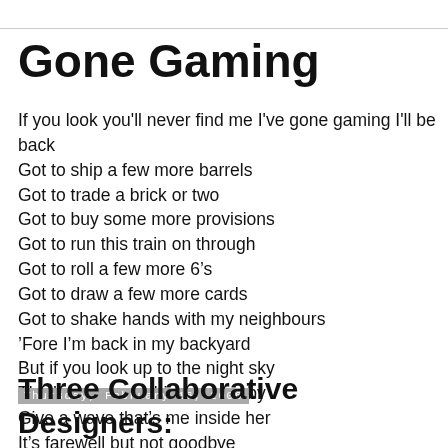Gone Gaming
If you look you'll never find me I've gone gaming I'll be back
Got to ship a few more barrels
Got to trade a brick or two
Got to buy some more provisions
Got to run this train on through
Got to roll a few more 6’s
Got to draw a few more cards
Got to shake hands with my neighbours
’Fore I’m back in my backyard
But if you look up to the night sky
That’s my spaceship passing by
Give a wave that’s me inside her
It’s farewell but not goodbye
Thursday, February 16, 2006
Three Collaborative Designers: